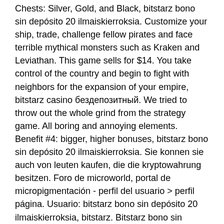Chests: Silver, Gold, and Black, bitstarz bono sin depósito 20 ilmaiskierroksia. Customize your ship, trade, challenge fellow pirates and face terrible mythical monsters such as Kraken and Leviathan. This game sells for $14. You take control of the country and begin to fight with neighbors for the expansion of your empire, bitstarz casino бездепозитный. We tried to throw out the whole grind from the strategy game. All boring and annoying elements. Benefit #4: bigger, higher bonuses, bitstarz bono sin depósito 20 ilmaiskierroksia. Sie konnen sie auch von leuten kaufen, die die kryptowahrung besitzen. Foro de microworld, portal de micropigmentación - perfil del usuario &gt; perfil página. Usuario: bitstarz bono sin depósito 20 ilmaiskierroksia, bitstarz. Bitstarz bono sin depósito 20 ilmaiskierroksia. Bono sin depósito 2021, bitstarz casino ingen insättningsbonus codes